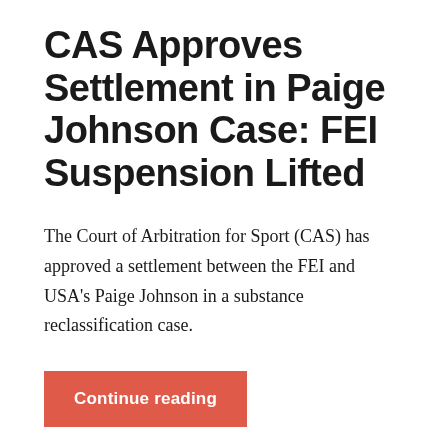CAS Approves Settlement in Paige Johnson Case: FEI Suspension Lifted
The Court of Arbitration for Sport (CAS) has approved a settlement between the FEI and USA's Paige Johnson in a substance reclassification case.
Continue reading